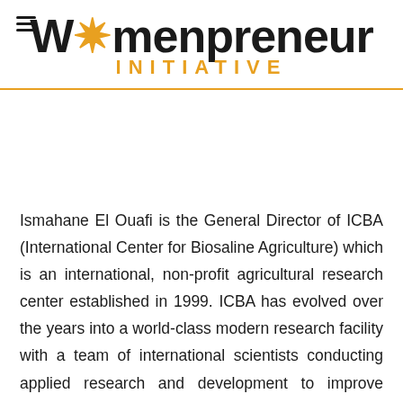Womenpreneur INITIATIVE
Ismahane El Ouafi is the General Director of ICBA (International Center for Biosaline Agriculture) which is an international, non-profit agricultural research center established in 1999. ICBA has evolved over the years into a world-class modern research facility with a team of international scientists conducting applied research and development to improve agricultural productivity and water availability in regions most affected